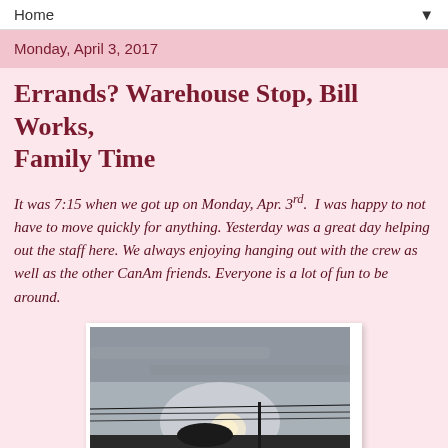Home
Monday, April 3, 2017
Errands? Warehouse Stop, Bill Works, Family Time
It was 7:15 when we got up on Monday, Apr. 3rd. I was happy to not have to move quickly for anything. Yesterday was a great day helping out the staff here. We always enjoying hanging out with the crew as well as the other CanAm friends. Everyone is a lot of fun to be around.
[Figure (photo): Outdoor photo showing a rooftop silhouette against an overcast sky with sun breaking through clouds and utility wires visible]